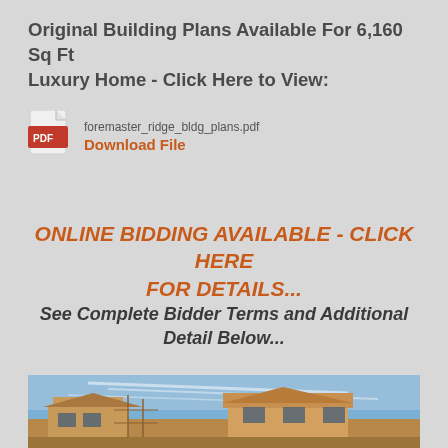Original Building Plans Available For 6,160 Sq Ft Luxury Home - Click Here to View:
foremaster_ridge_bldg_plans.pdf
Download File
ONLINE BIDDING AVAILABLE - CLICK HERE FOR DETAILS...
See Complete Bidder Terms and Additional Detail Below...
[Figure (photo): Construction photo of a large luxury home frame/structure under construction against a blue sky]